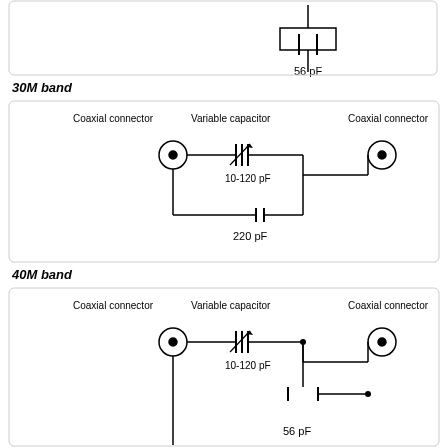[Figure (schematic): Top partial circuit diagram showing a capacitor labeled 56 pF]
56 pF
30M band
[Figure (schematic): Circuit diagram for 30M band with coaxial connectors on left and right, variable capacitor (10-120 pF) in series, and 220 pF capacitor to ground]
40M band
[Figure (schematic): Circuit diagram for 40M band with coaxial connectors on left and right, variable capacitor (10-120 pF) in series, and 56 pF capacitor to ground (partially visible)]